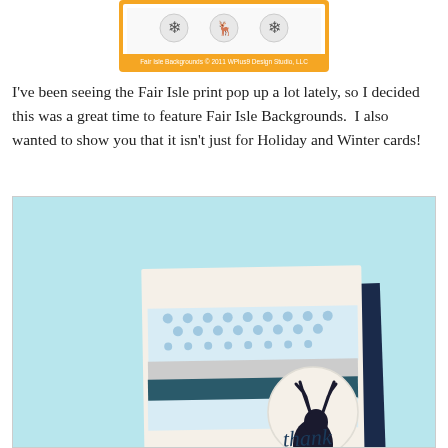[Figure (photo): Fair Isle Backgrounds stamp set product image with orange border, showing snowflake and bird stamp patterns. Copyright 2011 WPlus9 Design Studio, LLC.]
I've been seeing the Fair Isle print pop up a lot lately, so I decided this was a great time to feature Fair Isle Backgrounds.  I also wanted to show you that it isn't just for Holiday and Winter cards!
[Figure (photo): A handmade thank you card featuring Fair Isle background stamp patterns in light blue, white, gray, and dark teal, with a dark silhouette deer/reindeer head and handwritten 'thank you' script, displayed on a light blue background.]